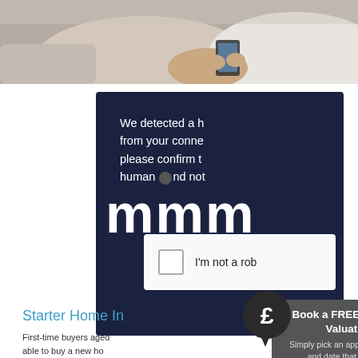[Figure (photo): Two people sitting on a sofa, one holding a mobile phone or tablet, partial view showing torsos and hands]
[Figure (screenshot): CAPTCHA modal dialog on dark navy background with text 'We detected a h... from your conne... please confirm t... human and not...' followed by large stylized letters and an 'I'm not a rob...' checkbox]
Starter Home In...
[Figure (illustration): Dark circular speech bubble with pound sterling symbol]
Book a FREE Property Valuation
Simply pick an appointment time and date that suits you
First-time buyers aged... able to buy a new ho... below market value, ...the government's 'Starter ... Home' initiative.